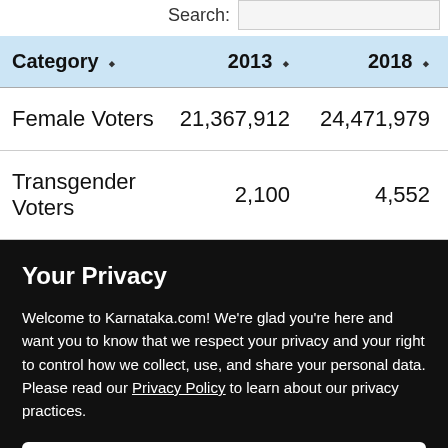| Category | 2013 | 2018 |
| --- | --- | --- |
| Female Voters | 21,367,912 | 24,471,979 |
| Transgender Voters | 2,100 | 4,552 |
Your Privacy
Welcome to Karnataka.com! We're glad you're here and want you to know that we respect your privacy and your right to control how we collect, use, and share your personal data. Please read our Privacy Policy to learn about our privacy practices.
I UNDERSTAND